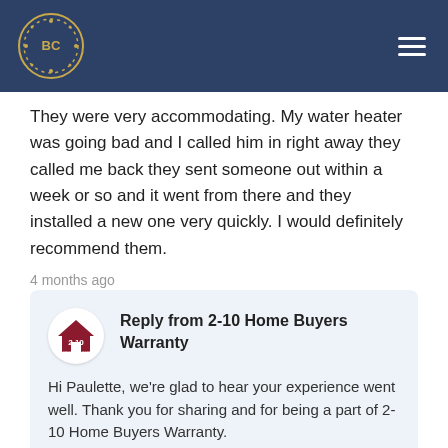BC — 2-10 Home Buyers Warranty site header with logo and navigation menu
They were very accommodating. My water heater was going bad and I called him in right away they called me back they sent someone out within a week or so and it went from there and they installed a new one very quickly. I would definitely recommend them.
4 months ago
Reply from 2-10 Home Buyers Warranty
Hi Paulette, we're glad to hear your experience went well. Thank you for sharing and for being a part of 2-10 Home Buyers Warranty.
Apr. 19th, 2022